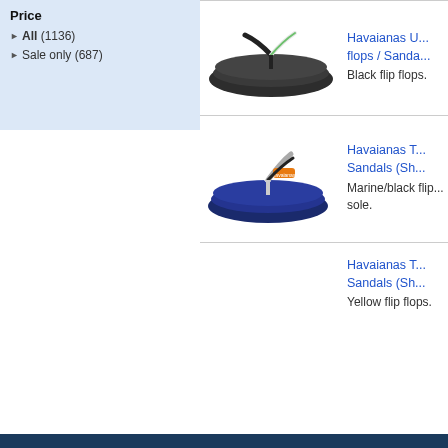Price
All (1136)
Sale only (687)
[Figure (photo): Black Havaianas flip flop sandal viewed from the side]
Havaianas U... flops / Sanda...
Black flip flops.
[Figure (photo): Navy/marine blue Havaianas flip flop sandal with white and orange strap]
Havaianas T... Sandals (Sh...
Marine/black flip... sole.
Havaianas T... Sandals (Sh...
Yellow flip flops.